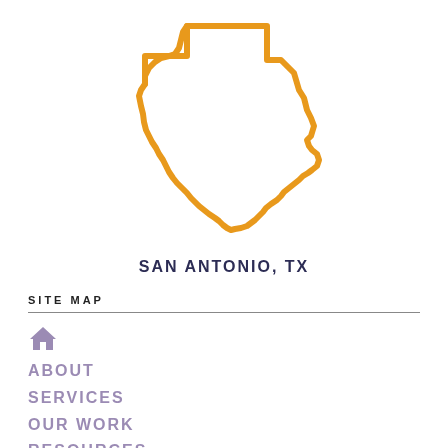[Figure (map): Outline map of the state of Texas in orange/golden color on white background]
SAN ANTONIO, TX
SITE MAP
Home (house icon)
ABOUT
SERVICES
OUR WORK
RESOURCES